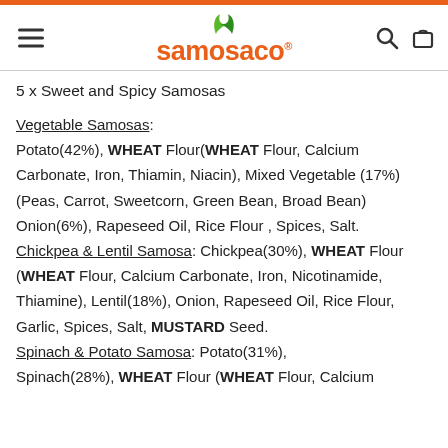samosaco® [hamburger menu, search icon, cart icon]
5 x Sweet and Spicy Samosas
Vegetable Samosas: Potato(42%), WHEAT Flour(WHEAT Flour, Calcium Carbonate, Iron, Thiamin, Niacin), Mixed Vegetable (17%) (Peas, Carrot, Sweetcorn, Green Bean, Broad Bean) Onion(6%), Rapeseed Oil, Rice Flour , Spices, Salt. Chickpea & Lentil Samosa: Chickpea(30%), WHEAT Flour (WHEAT Flour, Calcium Carbonate, Iron, Nicotinamide, Thiamine), Lentil(18%), Onion, Rapeseed Oil, Rice Flour, Garlic, Spices, Salt, MUSTARD Seed. Spinach & Potato Samosa: Potato(31%), Spinach(28%), WHEAT Flour (WHEAT Flour, Calcium